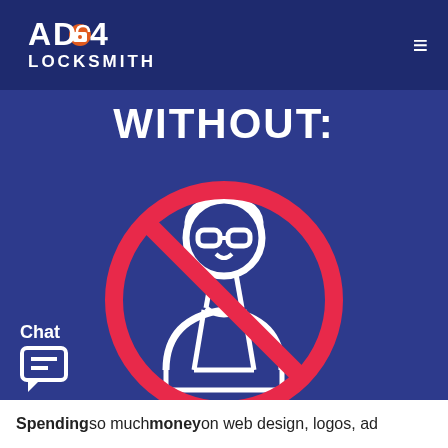[Figure (logo): AD4 Locksmith logo with lock icon in the O of AD4, white text on dark blue header]
WITHOUT:
[Figure (illustration): A no-symbol (red circle with diagonal slash) overlaid on a white outline illustration of a person/technician figure, on dark blue background]
Chat
[Figure (illustration): Chat bubble icon in white]
Spending so much money on web design, logos, ad